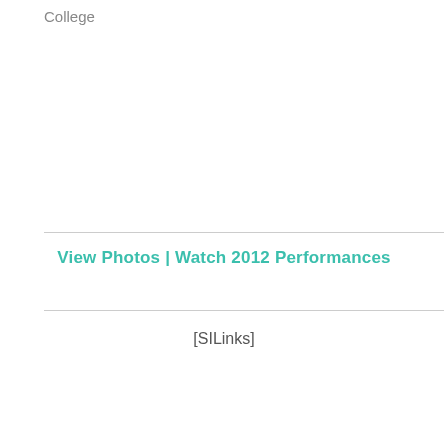College
View Photos  |  Watch 2012 Performances
[SILinks]